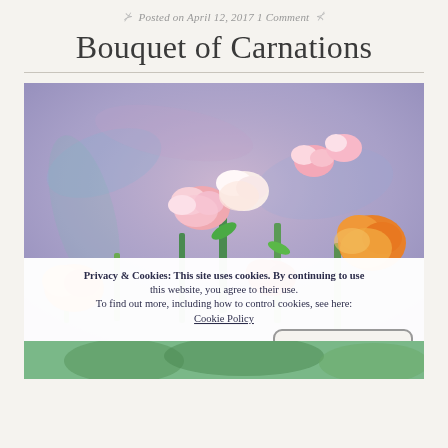Posted on April 12, 2017 1 Comment
Bouquet of Carnations
[Figure (illustration): Painting of a bouquet of carnations with pink, white, orange and red flowers against a blue-purple impressionistic background]
Privacy & Cookies: This site uses cookies. By continuing to use this website, you agree to their use.
To find out more, including how to control cookies, see here: Cookie Policy
Close and accept